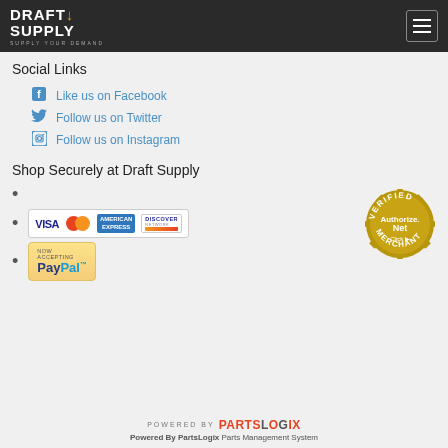Draft Supply - Logo and navigation menu
Social Links
Like us on Facebook
Follow us on Twitter
Follow us on Instagram
Shop Securely at Draft Supply
[Figure (logo): Payment methods logos: Visa, MasterCard, American Express, Discover, PayPal, and Authorize.Net Verified Merchant badge]
POWERED BY PARTSLOGIX - Powered By PartsLogix Parts Management System